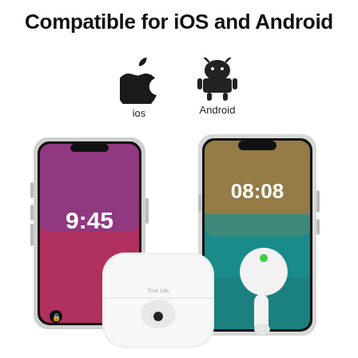Compatible for iOS and Android
[Figure (infographic): Apple logo icon with label 'ios' and Android robot logo icon with label 'Android', side by side]
[Figure (photo): iPhone X showing 9:45 lock screen on the left, Huawei Android phone showing 08:08 on the right, and white TWS earbuds with charging case in the foreground center]